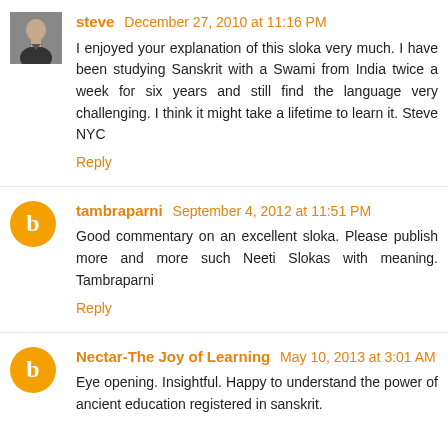steve December 27, 2010 at 11:16 PM
I enjoyed your explanation of this sloka very much. I have been studying Sanskrit with a Swami from India twice a week for six years and still find the language very challenging. I think it might take a lifetime to learn it. Steve NYC
Reply
tambraparni September 4, 2012 at 11:51 PM
Good commentary on an excellent sloka. Please publish more and more such Neeti Slokas with meaning. Tambraparni
Reply
Nectar-The Joy of Learning May 10, 2013 at 3:01 AM
Eye opening. Insightful. Happy to understand the power of ancient education registered in sanskrit.